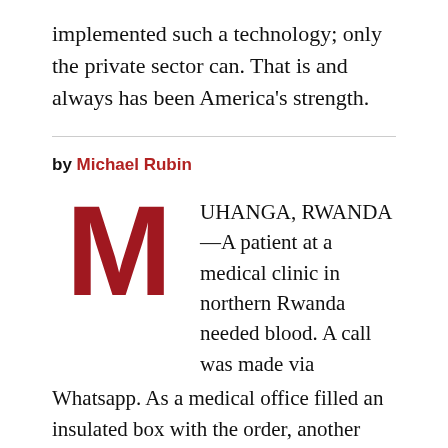implemented such a technology; only the private sector can. That is and always has been America's strength.
by Michael Rubin
MUHANGA, RWANDA—A patient at a medical clinic in northern Rwanda needed blood. A call was made via Whatsapp. As a medical office filled an insulated box with the order, another Zipline employee assembled the drone and inserted the battery. In